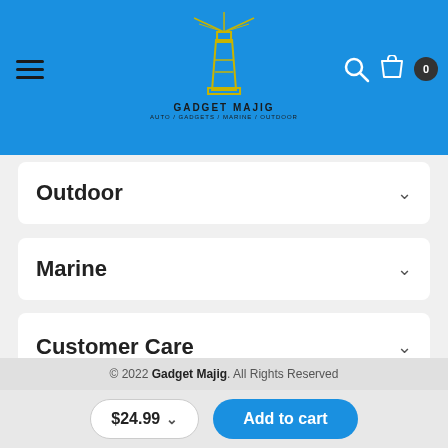[Figure (logo): Gadget Majig lighthouse logo with yellow outline on blue background, with text GADGET MAJIG and tagline AUTO / GADGETS / MARINE / OUTDOOR]
Outdoor
Marine
Customer Care
© 2022 Gadget Majig. All Rights Reserved
$24.99
Add to cart